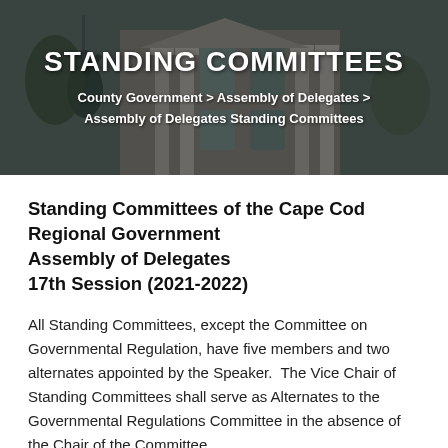[Figure (photo): Hero banner photograph of a government building exterior with columns and a statue, with a dark overlay. Text overlay shows 'STANDING COMMITTEES' and breadcrumb navigation.]
STANDING COMMITTEES
County Government > Assembly of Delegates > Assembly of Delegates Standing Committees
Standing Committees of the Cape Cod Regional Government Assembly of Delegates 17th Session (2021-2022)
All Standing Committees, except the Committee on Governmental Regulation, have five members and two alternates appointed by the Speaker. The Vice Chair of Standing Committees shall serve as Alternates to the Governmental Regulations Committee in the absence of the Chair of the Committee.